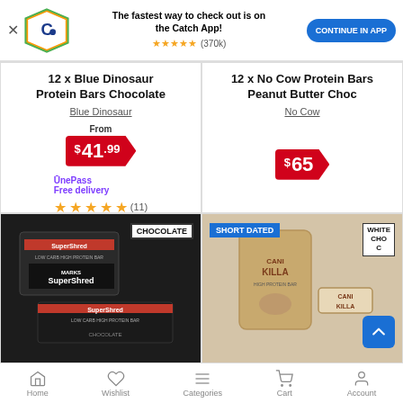[Figure (screenshot): App install banner with Catch logo, 'The fastest way to check out is on the Catch App!', 5 stars (370k reviews), and CONTINUE IN APP button]
12 x Blue Dinosaur Protein Bars Chocolate
Blue Dinosaur
From $41.99
OnePass Free delivery ★★★★★ (11)
12 x No Cow Protein Bars Peanut Butter Choc
No Cow
$65
[Figure (photo): SuperShred Low Carb High Protein Bar Chocolate product box and bars on dark background with CHOCOLATE badge]
[Figure (photo): Cani Killa protein bars on light beige background with SHORT DATED badge and WHITE CHO badge, scroll-to-top button]
Home  Wishlist  Categories  Cart  Account